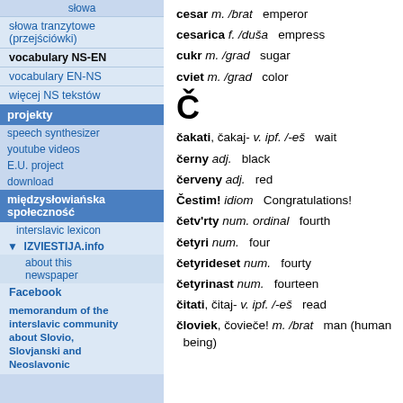słowa
słowa tranzytowe (przejściówki)
vocabulary NS-EN
vocabulary EN-NS
więcej NS tekstów
projekty
speech synthesizer
youtube videos
E.U. project
download
międzysłowiańska społeczność
interslavic lexicon
▼ IZVIESTIJA.info
about this newspaper
Facebook
memorandum of the interslavic community about Slovio, Slovjanski and Neoslavonic
cesar m. /brat   emperor
cesarica f. /duša   empress
cukr m. /grad   sugar
cviet m. /grad   color
Č
čakati, čakaj- v. ipf. /-eš   wait
černy adj.   black
červeny adj.   red
Čestim! idiom   Congratulations!
četv'rty num. ordinal   fourth
četyri num.   four
četyrideset num.   fourty
četyrinast num.   fourteen
čitati, čitaj- v. ipf. /-eš   read
človiek, čovieče! m. /brat   man (human being)